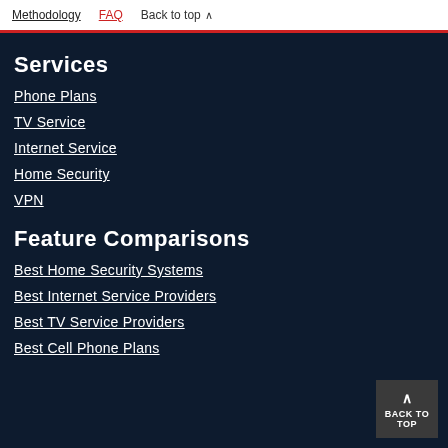Methodology  FAQ  Back to top
Services
Phone Plans
TV Service
Internet Service
Home Security
VPN
Feature Comparisons
Best Home Security Systems
Best Internet Service Providers
Best TV Service Providers
Best Cell Phone Plans